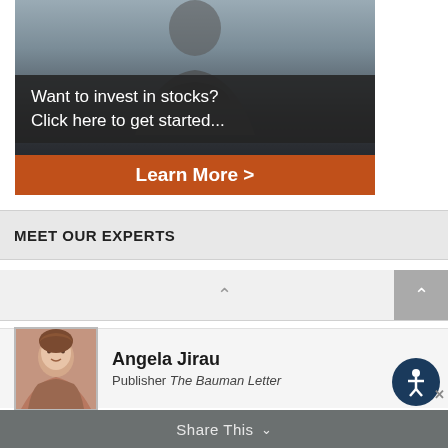[Figure (screenshot): Advertisement banner showing a man in a suit with overlay text 'Want to invest in stocks? Click here to get started...' and an orange 'Learn More >' button]
MEET OUR EXPERTS
[Figure (screenshot): Scroll/navigation bar with chevron up button in center and grey button on right]
[Figure (photo): Expert profile card showing Angela Jirau, Publisher of The Bauman Letter, with headshot photo]
Angela Jirau
Publisher The Bauman Letter
Share This